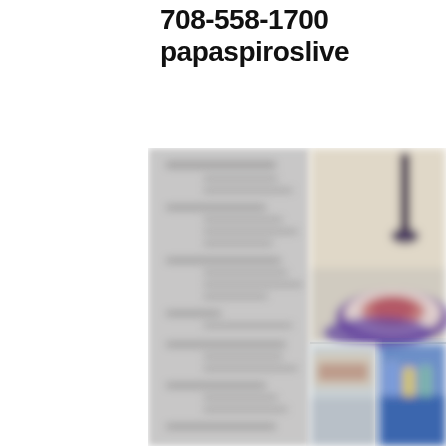708-558-1700
papaspiroslive
[Figure (photo): Blurred restaurant menu panel on the left side, with a food photo on the right showing a plated dish on a purple plate with a wine bottle, and two smaller food/drink photos below on the right.]